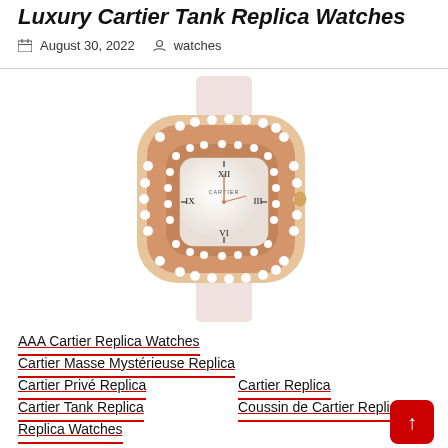Luxury Cartier Tank Replica Watches
August 30, 2022   watches
[Figure (photo): Cartier Coussin de Cartier watch with diamond-encrusted rose gold case, white dial with Roman numerals, and pink leather strap]
AAA Cartier Replica Watches
Cartier Masse Mystérieuse Replica
Cartier Privé Replica
Cartier Replica
Cartier Tank Replica
Coussin de Cartier Replica
Replica Watches